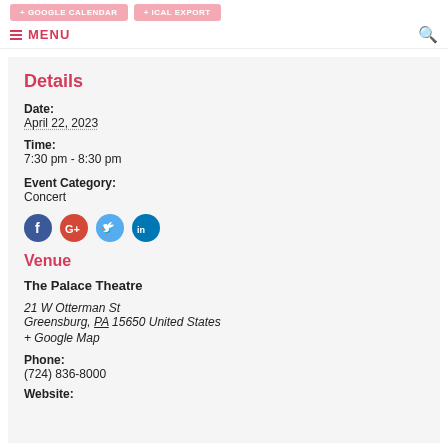+ GOOGLE CALENDAR  + ICAL EXPORT
≡ MENU
Details
Date:
April 22, 2023
Time:
7:30 pm - 8:30 pm
Event Category:
Concert
[Figure (infographic): Social share icons: Facebook (blue), Google+ (red), Twitter (light blue), LinkedIn (dark blue)]
Venue
The Palace Theatre
21 W Otterman St
Greensburg, PA 15650 United States
+ Google Map
Phone:
(724) 836-8000
Website: